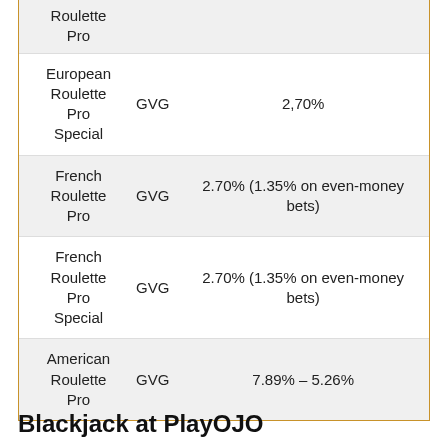| Game | Provider | House Edge |
| --- | --- | --- |
| Roulette Pro |  |  |
| European Roulette Pro Special | GVG | 2,70% |
| French Roulette Pro | GVG | 2.70% (1.35% on even-money bets) |
| French Roulette Pro Special | GVG | 2.70% (1.35% on even-money bets) |
| American Roulette Pro | GVG | 7.89% – 5.26% |
Blackjack at PlayOJO